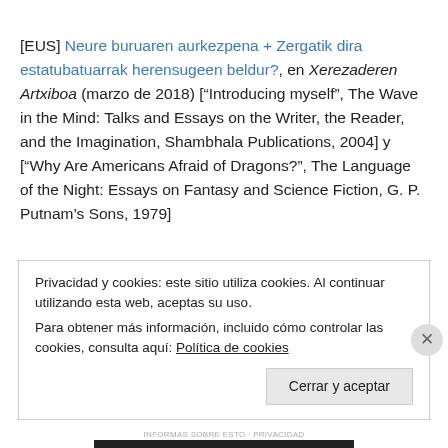[EUS] Neure buruaren aurkezpena + Zergatik dira estatubatuarrak herensugeen beldur?, en Xerezaderen Artxiboa (marzo de 2018) ["Introducing myself", The Wave in the Mind: Talks and Essays on the Writer, the Reader, and the Imagination, Shambhala Publications, 2004] y ["Why Are Americans Afraid of Dragons?", The Language of the Night: Essays on Fantasy and Science Fiction, G. P. Putnam’s Sons, 1979]
Privacidad y cookies: este sitio utiliza cookies. Al continuar utilizando esta web, aceptas su uso.
Para obtener más información, incluido cómo controlar las cookies, consulta aquí: Política de cookies